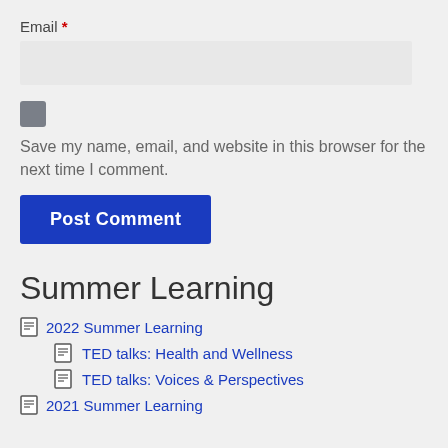Email *
[Figure (other): Email input field (empty, light gray background)]
[Figure (other): Checkbox, checked, gray background]
Save my name, email, and website in this browser for the next time I comment.
[Figure (other): Post Comment button, dark blue]
Summer Learning
2022 Summer Learning
TED talks: Health and Wellness
TED talks: Voices & Perspectives
2021 Summer Learning